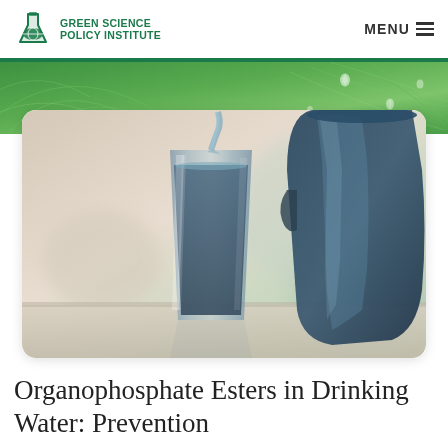GREEN SCIENCE POLICY INSTITUTE   MENU
[Figure (illustration): Green leaf background banner with water droplets]
[Figure (photo): A tall glass of water being poured from a dark blue pitcher/jug, with a soft blurred background in beige/green tones. The image is displayed in a rounded-corner white card.]
Organophosphate Esters in Drinking Water: Prevention